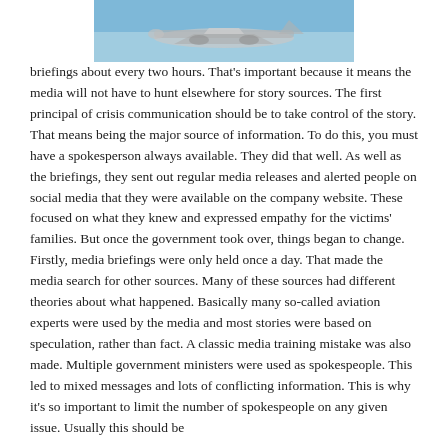[Figure (photo): Partial photograph of aircraft (likely a plane) against a blue sky, cropped at the top of the page]
briefings about every two hours. That's important because it means the media will not have to hunt elsewhere for story sources. The first principal of crisis communication should be to take control of the story. That means being the major source of information. To do this, you must have a spokesperson always available. They did that well. As well as the briefings, they sent out regular media releases and alerted people on social media that they were available on the company website. These focused on what they knew and expressed empathy for the victims' families. But once the government took over, things began to change. Firstly, media briefings were only held once a day. That made the media search for other sources. Many of these sources had different theories about what happened. Basically many so-called aviation experts were used by the media and most stories were based on speculation, rather than fact. A classic media training mistake was also made. Multiple government ministers were used as spokespeople. This led to mixed messages and lots of conflicting information. This is why it's so important to limit the number of spokespeople on any given issue. Usually this should be